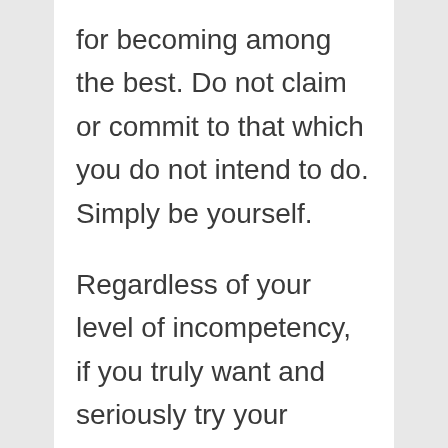for becoming among the best. Do not claim or commit to that which you do not intend to do. Simply be yourself.

Regardless of your level of incompetency, if you truly want and seriously try your utmost to excel, and have firm belief in God infinite ability to help you, God will